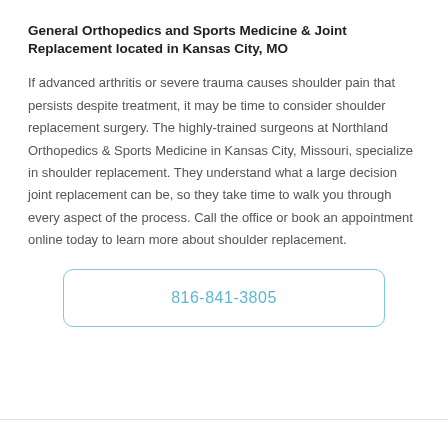General Orthopedics and Sports Medicine & Joint Replacement located in Kansas City, MO
If advanced arthritis or severe trauma causes shoulder pain that persists despite treatment, it may be time to consider shoulder replacement surgery. The highly-trained surgeons at Northland Orthopedics & Sports Medicine in Kansas City, Missouri, specialize in shoulder replacement. They understand what a large decision joint replacement can be, so they take time to walk you through every aspect of the process. Call the office or book an appointment online today to learn more about shoulder replacement.
816-841-3805